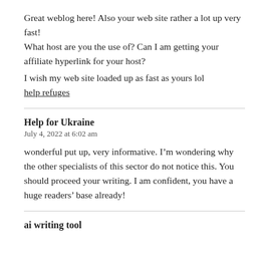Great weblog here! Also your web site rather a lot up very fast!
What host are you the use of? Can I am getting your affiliate hyperlink for your host?

I wish my web site loaded up as fast as yours lol
help refuges
Help for Ukraine
July 4, 2022 at 6:02 am
wonderful put up, very informative. I’m wondering why the other specialists of this sector do not notice this. You should proceed your writing. I am confident, you have a huge readers’ base already!
ai writing tool